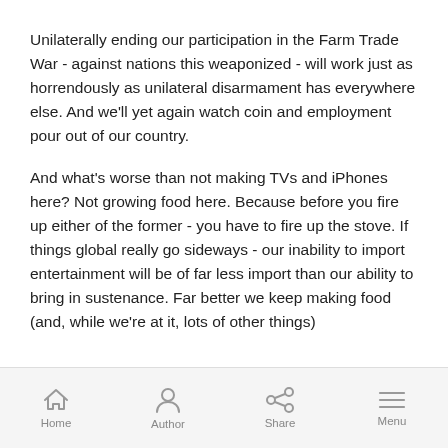Unilaterally ending our participation in the Farm Trade War - against nations this weaponized - will work just as horrendously as unilateral disarmament has everywhere else.  And we'll yet again watch coin and employment pour out of our country.
And what's worse than not making TVs and iPhones here?  Not growing food here.  Because before you fire up either of the former - you have to fire up the stove.  If things global really go sideways - our inability to import entertainment will be of far less import than our ability to bring in sustenance.  Far better we keep making food (and, while we're at it, lots of other things)
Home  Author  Share  Menu